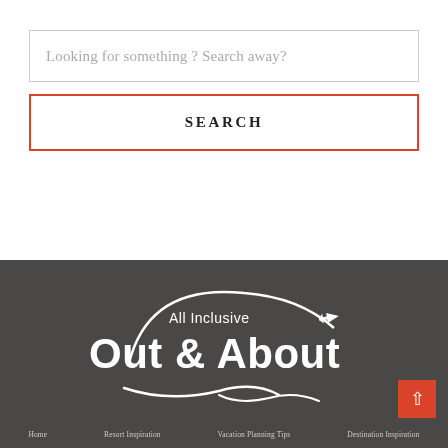Looking for something ? Search away?
SEARCH
[Figure (logo): All Inclusive Out & About logo in white on dark gray background, circular design with airplane icon and wave motif]
Home   Resort Inspiration   Vacation Planning Tips   Destination Inspiration